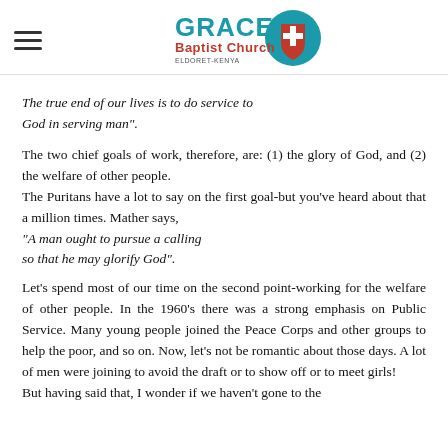Grace Baptist Church - Eldoret, Kenya
The true end of our lives is to do service to God in serving man".
The two chief goals of work, therefore, are: (1) the glory of God, and (2) the welfare of other people. The Puritans have a lot to say on the first goal-but you've heard about that a million times. Mather says, "A man ought to pursue a calling so that he may glorify God".
Let's spend most of our time on the second point-working for the welfare of other people. In the 1960's there was a strong emphasis on Public Service. Many young people joined the Peace Corps and other groups to help the poor, and so on. Now, let's not be romantic about those days. A lot of men were joining to avoid the draft or to show off or to meet girls! But having said that, I wonder if we haven't gone to the